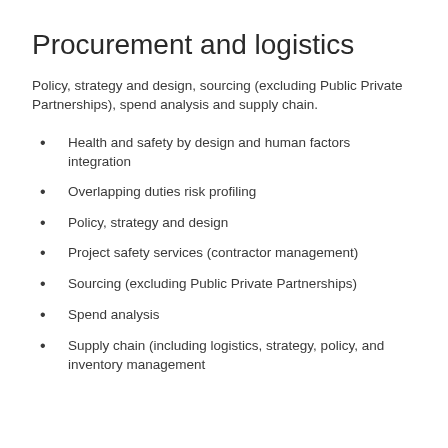Procurement and logistics
Policy, strategy and design, sourcing (excluding Public Private Partnerships), spend analysis and supply chain.
Health and safety by design and human factors integration
Overlapping duties risk profiling
Policy, strategy and design
Project safety services (contractor management)
Sourcing (excluding Public Private Partnerships)
Spend analysis
Supply chain (including logistics, strategy, policy, and inventory management